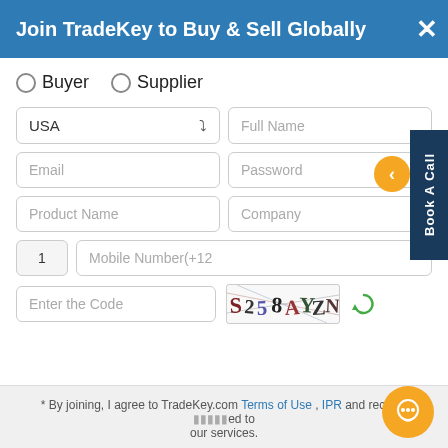Join TradeKey to Buy & Sell Globally
○ Buyer  ○ Supplier
[Figure (screenshot): Registration form with fields: country dropdown (USA), Full Name, Email, Password, Product Name, Company, phone code (1) and Mobile Number (+12...), Enter the Code captcha field, captcha image showing S2S8AYZN, refresh icon]
Book A Call
* By joining, I agree to TradeKey.com Terms of Use , IPR and receive ...ed to our services.